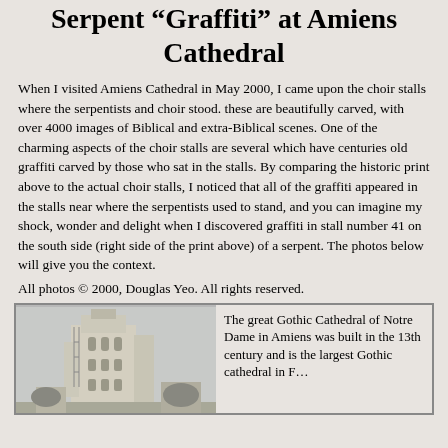Serpent "Graffiti" at Amiens Cathedral
When I visited Amiens Cathedral in May 2000, I came upon the choir stalls where the serpentists and choir stood. these are beautifully carved, with over 4000 images of Biblical and extra-Biblical scenes. One of the charming aspects of the choir stalls are several which have centuries old graffiti carved by those who sat in the stalls. By comparing the historic print above to the actual choir stalls, I noticed that all of the graffiti appeared in the stalls near where the serpentists used to stand, and you can imagine my shock, wonder and delight when I discovered graffiti in stall number 41 on the south side (right side of the print above) of a serpent. The photos below will give you the context.
All photos © 2000, Douglas Yeo. All rights reserved.
[Figure (photo): Photo of Amiens Cathedral, a great Gothic cathedral tower with scaffolding, pale stone exterior against a grey sky]
The great Gothic Cathedral of Notre Dame in Amiens was built in the 13th century and is the largest Gothic cathedral in F...